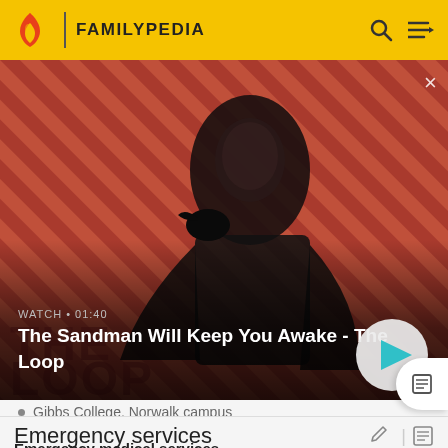FAMILYPEDIA
[Figure (screenshot): Video thumbnail for 'The Sandman Will Keep You Awake - The Loop' showing a dark-cloaked figure with a raven on a red and black striped background. WATCH • 01:40 label and play button visible.]
Gibbs College, Norwalk campus
Emergency services
Emergency medical services
Norwalk is served 24/7 by Norwalk Hospital and Norwalk...